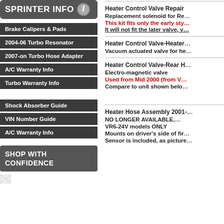SPRINTER INFO
Brake Calipers & Pads
2004-06 Turbo Resonator
2007-on Turbo Hose Adapter
A/C Warranty Info
Turbo Warranty Info
Shock Absorber Guide
VIN Number Guide
A/C Warranty Info
SHOP WITH CONFIDENCE
Heater Control Valve Repair
Replacement solenoid for Re... This kit fits only the early sty...
It will not fit the later valve, v...
Heater Control Valve-Heater...
Vacuum actuated valve for he...
Heater Control Valve-Rear H...
Electro-magnetic valve
Used from Mid 2000 (from V...
Compare to unit shown belo...
Heater Hose Assembly 2001-...
NO LONGER AVAILABLE,...
VR6-24V models ONLY
Mounts on driver's side of fir...
Sensor is included, as picture...